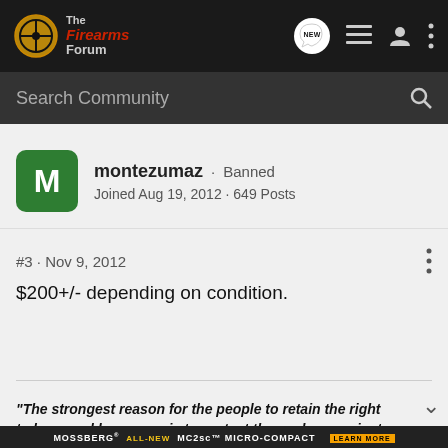The Firearms Forum
Search Community
montezumaz · Banned
Joined Aug 19, 2012 · 649 Posts
#3 · Nov 9, 2012
$200+/- depending on condition.
"The strongest reason for the people to retain the right to keep and bear arms is to protect themselves against tyranny in
[Figure (photo): Mossberg MC2sc Micro-Compact advertisement banner]